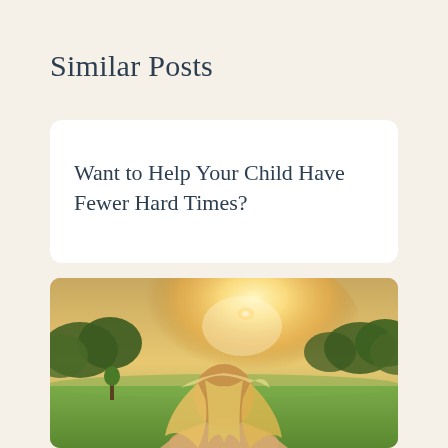Similar Posts
Want to Help Your Child Have Fewer Hard Times?
[Figure (photo): Back view of a blonde child or young person with long flowing hair, standing in a sunny outdoor field with green grass and trees in the background, backlit by warm golden sunlight]